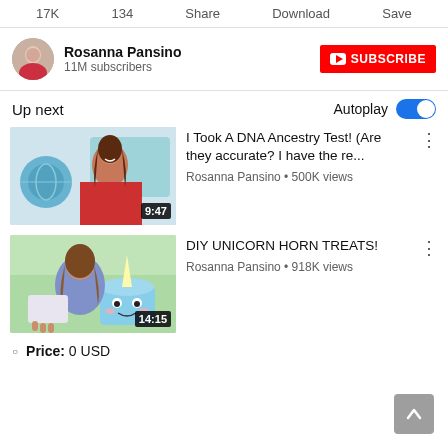17K   134   Share   Download   Save
Rosanna Pansino
11M subscribers
SUBSCRIBE
Up next
Autoplay
[Figure (screenshot): YouTube video thumbnail for 'I Took A DNA Ancestry Test!']
I Took A DNA Ancestry Test! (Are they accurate? I have the re...
Rosanna Pansino • 500K views
[Figure (screenshot): YouTube video thumbnail for 'DIY UNICORN HORN TREATS!']
DIY UNICORN HORN TREATS!
Rosanna Pansino • 918K views
Price: 0 USD